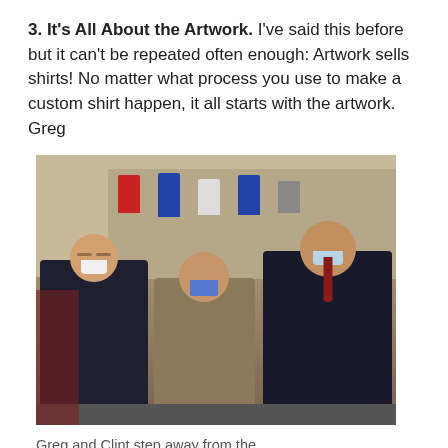3. It's All About the Artwork. I've said this before but it can't be repeated often enough: Artwork sells shirts! No matter what process you use to make a custom shirt happen, it all starts with the artwork. Greg
[Figure (photo): Three men standing together in what appears to be a sports merchandise or locker room setting, with jerseys visible on hangers in the background. Two men in dark suits flank an older man in a tan blazer and blue shirt.]
Greg and Clint step away from the Cadworxlive.com station for a quick photo opp.